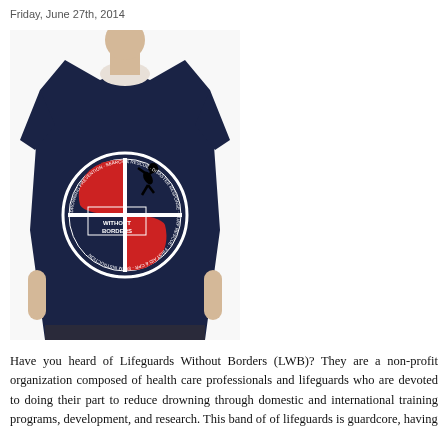Friday, June 27th, 2014
[Figure (photo): A man wearing a navy blue t-shirt with the Lifeguards Without Borders circular logo on the chest. The logo features a globe design divided into quadrants with red and white sections, showing the Americas, with text around the border reading 'DROWNING PREVENTION · SEARCH & RESCUE · DISASTER RESPONSE · SURF RESCUE · FIRST AID & CPR · SWIM INSTRUCTION' and 'LIFEGUARDS WITHOUT BORDERS' in the center.]
Have you heard of Lifeguards Without Borders (LWB)? They are a non-profit organization composed of health care professionals and lifeguards who are devoted to doing their part to reduce drowning through domestic and international training programs, development, and research. This band of of lifeguards is guardcore, having